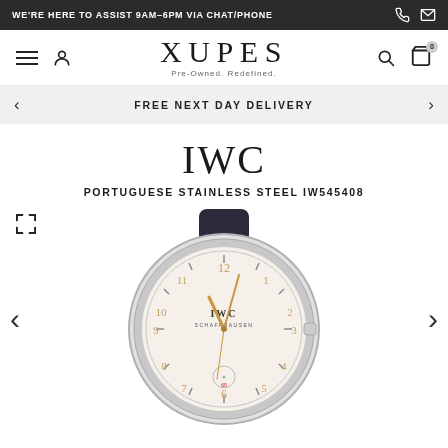WE'RE HERE TO ASSIST 9AM-6PM VIA CHAT/PHONE
XUPES — Pre-Owned. Redefined.
FREE NEXT DAY DELIVERY
IWC
PORTUGUESE STAINLESS STEEL IW545408
[Figure (photo): IWC Portuguese Stainless Steel watch IW545408 with white dial, rose-gold Arabic numerals, and dark leather strap, displayed on white background.]